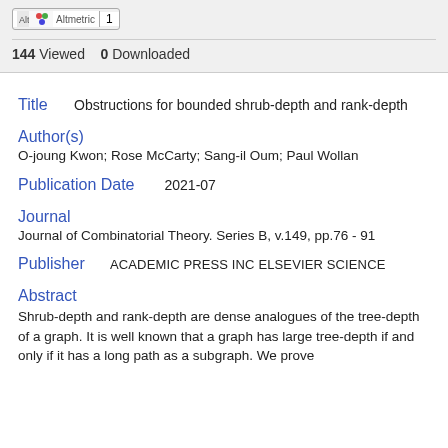[Figure (logo): Altmetric badge with score 1]
144 Viewed   0 Downloaded
Title
Obstructions for bounded shrub-depth and rank-depth
Author(s)
O-joung Kwon; Rose McCarty; Sang-il Oum; Paul Wollan
Publication Date
2021-07
Journal
Journal of Combinatorial Theory. Series B, v.149, pp.76 - 91
Publisher
ACADEMIC PRESS INC ELSEVIER SCIENCE
Abstract
Shrub-depth and rank-depth are dense analogues of the tree-depth of a graph. It is well known that a graph has large tree-depth if and only if it has a long path as a subgraph. We prove